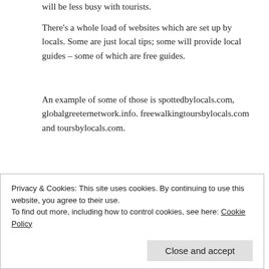will be less busy with tourists.
There’s a whole load of websites which are set up by locals. Some are just local tips; some will provide local guides – some of which are free guides.
An example of some of those is spottedbylocals.com, globalgreeternetwork.info. freewalkingtoursbylocals.com and toursbylocals.com.
Those sites are really helpful as a resource, because these are run by people who live there and know all the tricks and tips around how to find quiet places. Many of them provide free tours and all you do is pay tips or gratuities for their time.
Privacy & Cookies: This site uses cookies. By continuing to use this website, you agree to their use.
To find out more, including how to control cookies, see here: Cookie Policy
[Figure (photo): Partial photo strip at bottom of page showing a building scene]